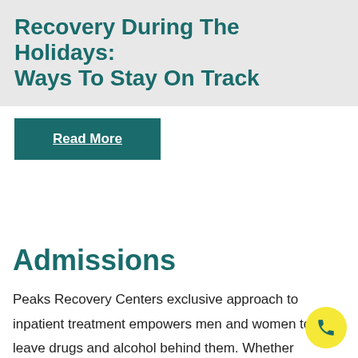Recovery During The Holidays: Ways To Stay On Track
Read More
Admissions
Peaks Recovery Centers exclusive approach to inpatient treatment empowers men and women to leave drugs and alcohol behind them. Whether